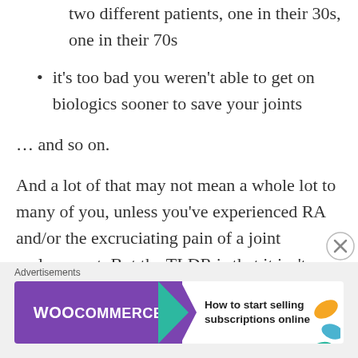two different patients, one in their 30s, one in their 70s
it's too bad you weren't able to get on biologics sooner to save your joints
… and so on.
And a lot of that may not mean a whole lot to many of you, unless you've experienced RA and/or the excruciating pain of a joint replacement. But the TLDR is that it isn't a pleasant prospect.
Advertisements
[Figure (other): WooCommerce advertisement banner: purple background with WooCommerce logo and teal arrow, text 'How to start selling subscriptions online', orange and teal leaf decorations on the right]